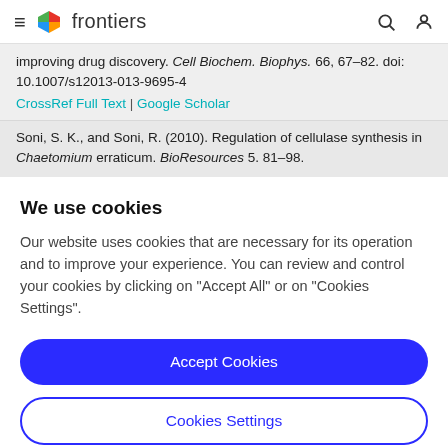frontiers
improving drug discovery. Cell Biochem. Biophys. 66, 67–82. doi: 10.1007/s12013-013-9695-4
CrossRef Full Text | Google Scholar
Soni, S. K., and Soni, R. (2010). Regulation of cellulase synthesis in Chaetomium erraticum. BioResources 5. 81–98.
We use cookies
Our website uses cookies that are necessary for its operation and to improve your experience. You can review and control your cookies by clicking on "Accept All" or on "Cookies Settings".
Accept Cookies
Cookies Settings